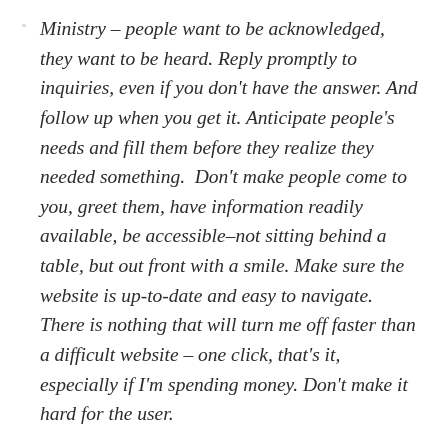Ministry – people want to be acknowledged, they want to be heard. Reply promptly to inquiries, even if you don't have the answer. And follow up when you get it. Anticipate people's needs and fill them before they realize they needed something.  Don't make people come to you, greet them, have information readily available, be accessible–not sitting behind a table, but out front with a smile. Make sure the website is up-to-date and easy to navigate.  There is nothing that will turn me off faster than a difficult website – one click, that's it, especially if I'm spending money. Don't make it hard for the user.
Life – well, pretty much all of the above. Take the